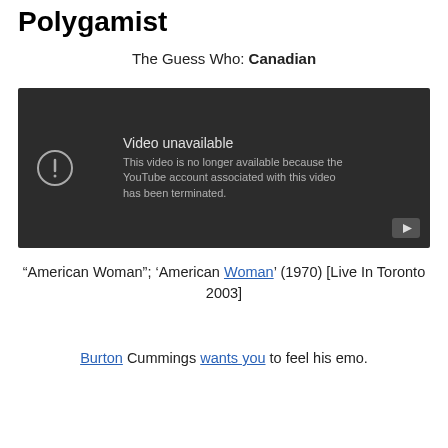Polygamist
The Guess Who: Canadian
[Figure (screenshot): Embedded YouTube video player showing 'Video unavailable' error message. Text reads: 'This video is no longer available because the YouTube account associated with this video has been terminated.' A YouTube play button icon is visible in the bottom right corner.]
"American Woman"; 'American Woman' (1970) [Live In Toronto 2003]
Burton Cummings wants you to feel his emo.